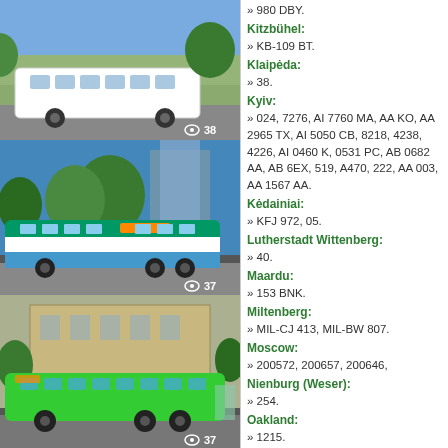[Figure (photo): White bus on street, view count 38]
[Figure (photo): Green and white articulated bus on street, view count 37]
[Figure (photo): Green bus on street, view count 37]
» 980 DBY.
Kitzbühel:
» KB-109 BT.
Klaipėda:
» 38.
Kyiv:
» 024, 7276, AI 7760 MA, AA 8KO, AA 2965 TX, AI 5050 CB, 8218, 4238, 4226, AI 0460 K, 0531 PC, AB 0682 AA, AB 6EX, 519, A470, 222, AA 003, AA 1567 AA.
Kėdainiai:
» KFJ 972, 05.
Lutherstadt Wittenberg:
» 40.
Maardu:
» 153 BNK.
Miltenberg:
» MIL-CJ 413, MIL-BW 807.
Moscow:
» 200572, 200657, 200646,
Nienburg (Weser):
» 254.
Oakland:
» 1215.
Orsha:
» AK 1278-2, 2TAX5675.
Ostrava:
» 7891, 24-0003.